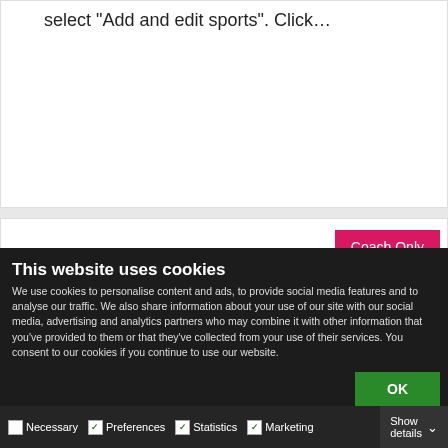select “Add and edit sports”. Click…
[Figure (screenshot): Coach Only badge button (pink/red background) in upper right of card]
Add and edit training
This website uses cookies
We use cookies to personalise content and ads, to provide social media features and to analyse our traffic. We also share information about your use of our site with our social media, advertising and analytics partners who may combine it with other information that you’ve provided to them or that they’ve collected from your use of their services. You consent to our cookies if you continue to use our website.
OK
Necessary  Preferences  Statistics  Marketing  Show details